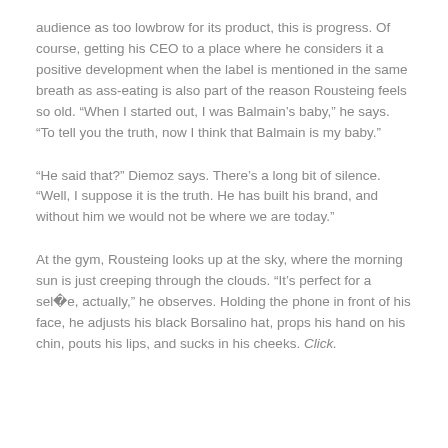audience as too lowbrow for its product, this is progress. Of course, getting his CEO to a place where he considers it a positive development when the label is mentioned in the same breath as ass-eating is also part of the reason Rousteing feels so old. “When I started out, I was Balmain’s baby,” he says. “To tell you the truth, now I think that Balmain is my baby.”
“He said that?” Diemoz says. There’s a long bit of silence. “Well, I suppose it is the truth. He has built his brand, and without him we would not be where we are today.”
At the gym, Rousteing looks up at the sky, where the morning sun is just creeping through the clouds. “It’s perfect for a sel�?e, actually,” he observes. Holding the phone in front of his face, he adjusts his black Borsalino hat, props his hand on his chin, pouts his lips, and sucks in his cheeks. Click.